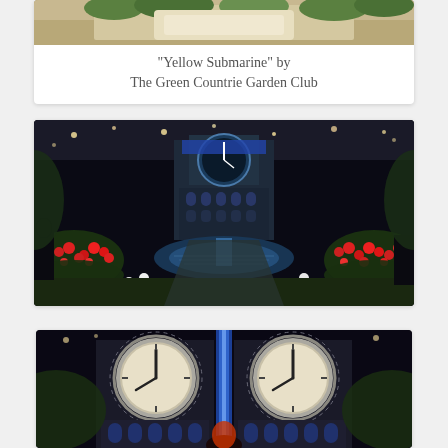[Figure (photo): Partial view of a garden display, likely a yellow submarine themed garden exhibit, showing greenery and light-colored elements from above]
"Yellow Submarine" by The Green Countrie Garden Club
[Figure (photo): Night view of a large indoor garden show featuring a tall illuminated clock tower building, flower beds with red and white flowers, and a central reflective pool/fountain]
[Figure (photo): Close-up view of an ornate illuminated clock tower facade with two large clock faces and blue lighting, at an indoor garden show]